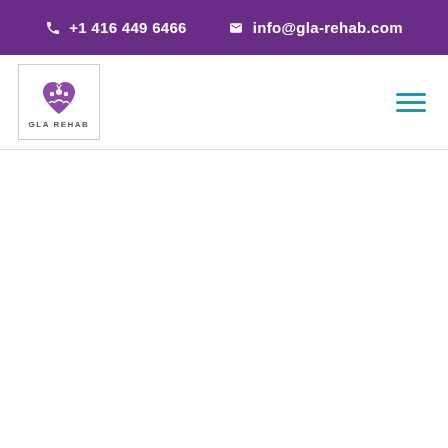+1 416 449 6466  info@gla-rehab.com
[Figure (logo): GLA Rehab logo with purple heart/people icon and text 'GLA REHAB' inside a bordered box]
[Figure (other): Hamburger menu icon with three horizontal teal/blue lines]